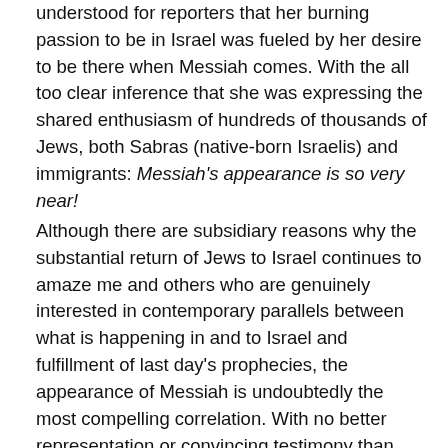understood for reporters that her burning passion to be in Israel was fueled by her desire to be there when Messiah comes. With the all too clear inference that she was expressing the shared enthusiasm of hundreds of thousands of Jews, both Sabras (native-born Israelis) and immigrants: Messiah's appearance is so very near!
Although there are subsidiary reasons why the substantial return of Jews to Israel continues to amaze me and others who are genuinely interested in contemporary parallels between what is happening in and to Israel and fulfillment of last day's prophecies, the appearance of Messiah is undoubtedly the most compelling correlation. With no better representation or convincing testimony than that expressed by Shira Parshan.
The Jewish Agency is, by far, the largest organization that facilitates the transition of Jews to Israel, but not the only